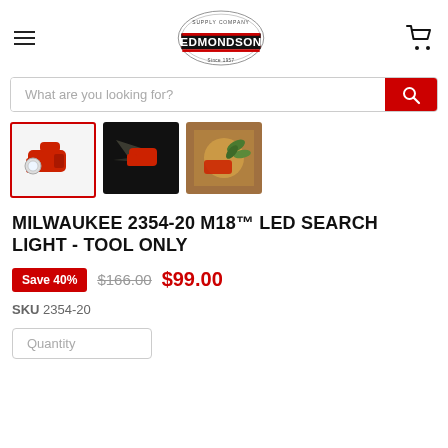[Figure (logo): Edmondson Supply Company logo — oval shape with 'SUPPLY COMPANY' at top, 'EDMONDSON' in large bold white text on dark/red background, 'Since 1957' at bottom]
[Figure (photo): Three product thumbnail images: first (active/selected, red border) shows Milwaukee M18 LED search light in red on white background; second shows the light in use in dark setting; third shows warm-toned scene with tool and plants]
MILWAUKEE 2354-20 M18™ LED SEARCH LIGHT - TOOL ONLY
Save 40%  $166.00  $99.00
SKU 2354-20
Quantity